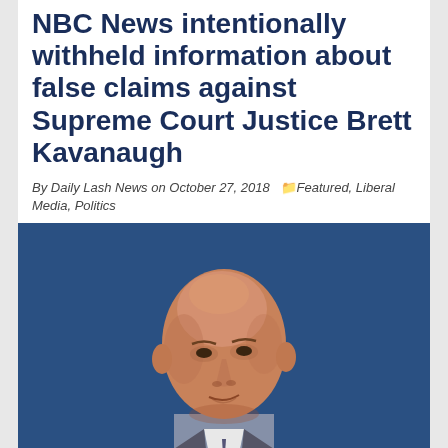NBC News intentionally withheld information about false claims against Supreme Court Justice Brett Kavanaugh
By Daily Lash News on October 27, 2018  Featured, Liberal Media, Politics
[Figure (photo): Portrait photo of a bald man in a suit and tie against a dark blue background]